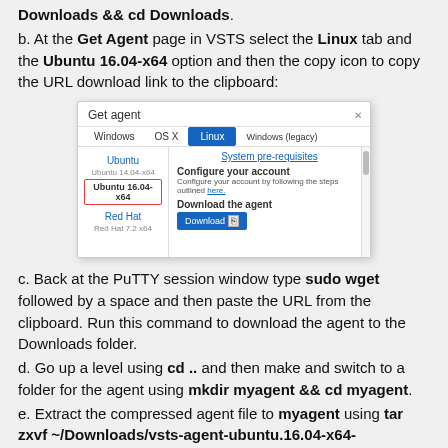Downloads && cd Downloads.
b. At the Get Agent page in VSTS select the Linux tab and the Ubuntu 16.04-x64 option and then the copy icon to copy the URL download link to the clipboard:
[Figure (screenshot): Screenshot of the 'Get agent' dialog in VSTS showing Windows, OS X, Linux (selected/active), and Windows (legacy) tabs. Left panel shows Ubuntu (with Ubuntu 14.04-x64 subitem), Ubuntu 16.04-x64 (selected with red border), Red Hat, Red Hat 7.2 x64. Right panel shows System pre-requisites link, Configure your account section, and Download the agent section with a blue Download button.]
c. Back at the PuTTY session window type sudo wget followed by a space and then paste the URL from the clipboard. Run this command to download the agent to the Downloads folder.
d. Go up a level using cd .. and then make and switch to a folder for the agent using mkdir myagent && cd myagent.
e. Extract the compressed agent file to myagent using tar zxvf ~/Downloads/vsts-agent-ubuntu.16.04-x64-